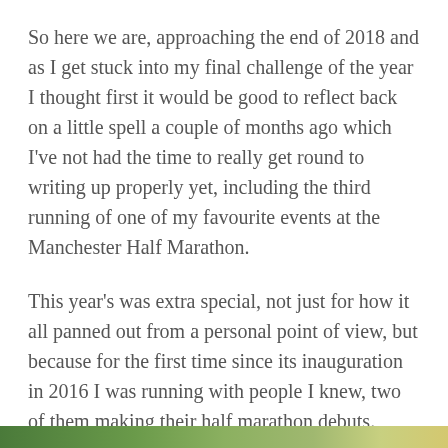So here we are, approaching the end of 2018 and as I get stuck into my final challenge of the year I thought first it would be good to reflect back on a little spell a couple of months ago which I've not had the time to really get round to writing up properly yet, including the third running of one of my favourite events at the Manchester Half Marathon.
This year's was extra special, not just for how it all panned out from a personal point of view, but because for the first time since its inauguration in 2016 I was running with people I knew, two of them making their half marathon debuts.
[Figure (photo): Partial photo visible at the bottom of the page showing an outdoor scene with green foliage.]